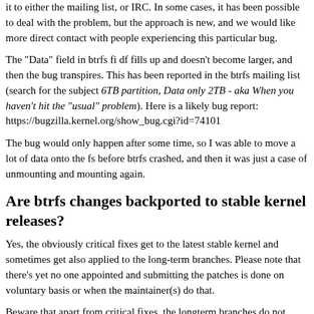it to either the mailing list, or IRC. In some cases, it has been possible to deal with the problem, but the approach is new, and we would like more direct contact with people experiencing this particular bug.
The "Data" field in btrfs fi df fills up and doesn't become larger, and then the bug transpires. This has been reported in the btrfs mailing list (search for the subject 6TB partition, Data only 2TB - aka When you haven't hit the "usual" problem). Here is a likely bug report: https://bugzilla.kernel.org/show_bug.cgi?id=74101
The bug would only happen after some time, so I was able to move a lot of data onto the fs before btrfs crashed, and then it was just a case of unmounting and mounting again.
Are btrfs changes backported to stable kernel releases?
Yes, the obviously critical fixes get to the latest stable kernel and sometimes get also applied to the long-term branches. Please note that there's yet no one appointed and submitting the patches is done on voluntary basis or when the maintainer(s) do that.
Beware that apart from critical fixes, the longterm branches do not